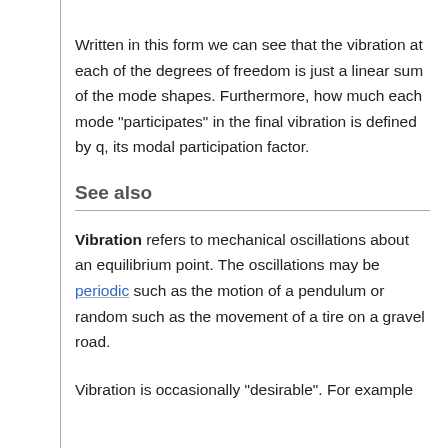Written in this form we can see that the vibration at each of the degrees of freedom is just a linear sum of the mode shapes. Furthermore, how much each mode "participates" in the final vibration is defined by q, its modal participation factor.
See also
Vibration refers to mechanical oscillations about an equilibrium point. The oscillations may be periodic such as the motion of a pendulum or random such as the movement of a tire on a gravel road.
Vibration is occasionally "desirable". For example